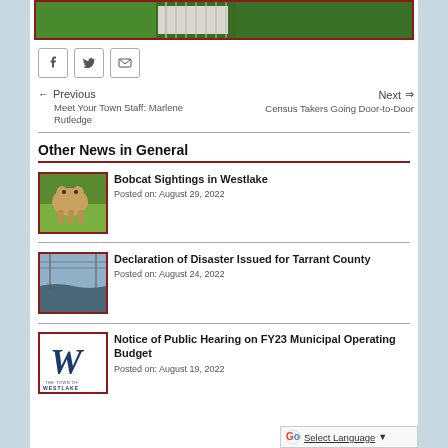[Figure (photo): Top banner image showing green vegetation/grass area with fence]
[Figure (infographic): Social media share buttons: Facebook, Twitter, Email]
← Previous
Meet Your Town Staff: Marlene Rutledge
Next ⇒
Census Takers Going Door-to-Door
Other News in General
[Figure (photo): Bobcat animal standing on grass]
Bobcat Sightings in Westlake
Posted on: August 29, 2022
[Figure (photo): Flooded river with power lines in background]
Declaration of Disaster Issued for Tarrant County
Posted on: August 24, 2022
[Figure (logo): Town of Westlake logo with W]
Notice of Public Hearing on FY23 Municipal Operating Budget
Posted on: August 19, 2022
Select Language ▼